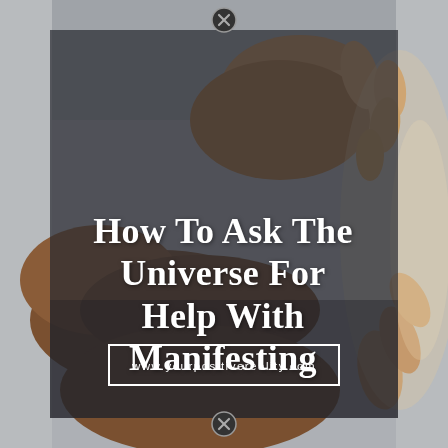[Figure (photo): Two open hands held palms-up against a soft grey background, with warm light illuminating the fingertips. A dark semi-transparent overlay covers the center of the image.]
How To Ask The Universe For Help With Manifesting
www.yourpositivereality.com